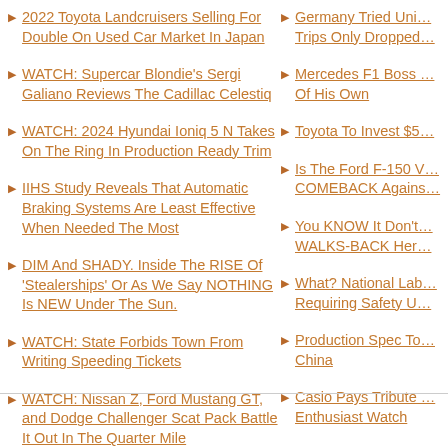2022 Toyota Landcruisers Selling For Double On Used Car Market In Japan
WATCH: Supercar Blondie's Sergi Galiano Reviews The Cadillac Celestiq
WATCH: 2024 Hyundai Ioniq 5 N Takes On The Ring In Production Ready Trim
IIHS Study Reveals That Automatic Braking Systems Are Least Effective When Needed The Most
DIM And SHADY. Inside The RISE Of 'Stealerships' Or As We Say NOTHING Is NEW Under The Sun.
WATCH: State Forbids Town From Writing Speeding Tickets
WATCH: Nissan Z, Ford Mustang GT, and Dodge Challenger Scat Pack Battle It Out In The Quarter Mile
South Korea To Take Inflation Reduction Act To Court For WTO Violations
South Africa's Chances For A Formula 1 Race Crumbles
Germany Tried Uni… Trips Only Dropped…
Mercedes F1 Boss … Of His Own
Toyota To Invest $5…
Is The Ford F-150 V… COMEBACK Agains…
You KNOW It Don't… WALKS-BACK Her…
What? National Lab… Requiring Safety U…
Production Spec To… China
Casio Pays Tribute … Enthusiast Watch
Polestar 6 Targets P…